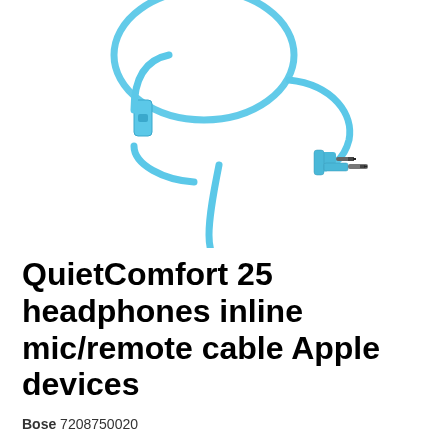[Figure (photo): A light blue audio cable with flat ribbon design, featuring an inline mic/remote module, a straight 3.5mm plug at one end, and an angled (L-shaped) 3.5mm plug at the other end, coiled on a white background.]
QuietComfort 25 headphones inline mic/remote cable Apple devices
Bose 7208750020